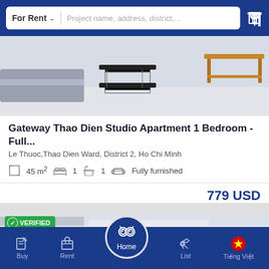For Rent | Project name, address, district,...
[Figure (photo): Interior photo of apartment showing coffee table, sofa, and wooden furniture on light floor]
Gateway Thao Dien Studio Apartment 1 Bedroom - Full...
Le Thuoc,Thao Dien Ward, District 2, Ho Chi Minh
45 m²  1  1  Fully furnished
779 USD
H134726
[Figure (photo): Partial view of second apartment listing with VERIFIED badge and phone call button]
Buy  Rent  Home  List  Tiếng Việt